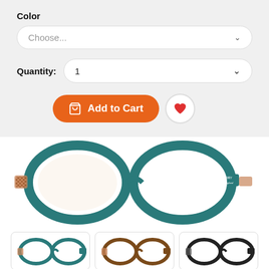Color
Choose...
Quantity: 1
Add to Cart
[Figure (photo): Burberry teal/blue cat-eye eyeglass frames with patterned inner temples, brand logo on arm]
[Figure (photo): Thumbnail 1: teal eyeglass frames front view]
[Figure (photo): Thumbnail 2: brown tortoiseshell eyeglass frames]
[Figure (photo): Thumbnail 3: dark eyeglass frames]